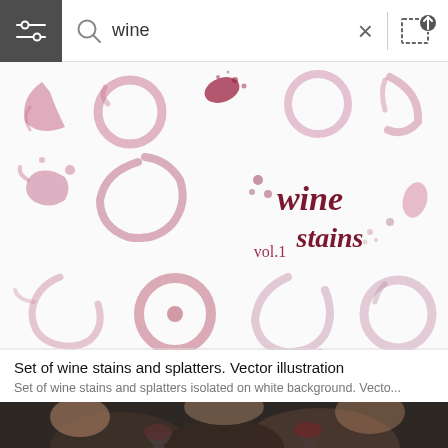wine
[Figure (illustration): Set of wine stains and splatters watercolor vector illustration on white background, showing various ring shapes and splatter marks in pink and dark red/burgundy colors. Text overlay reads 'wine stains vol.1']
Set of wine stains and splatters. Vector illustration
Set of wine stains and splatters isolated on white background. Vecto...
[Figure (photo): Photo of people holding wine glasses, partially visible, cropped at bottom of page]